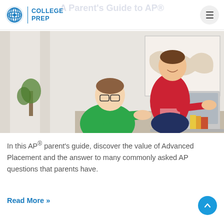UWorld College Prep
[Figure (photo): A young student with glasses in a green shirt sits at a laptop while an older person in a red and black shirt leans over to help, with a world map on the wall behind them]
In this AP® parent's guide, discover the value of Advanced Placement and the answer to many commonly asked AP questions that parents have.
Read More »